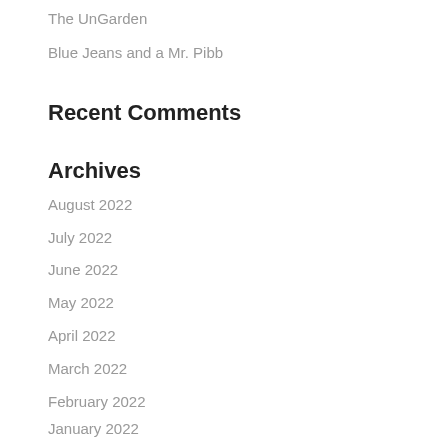The UnGarden
Blue Jeans and a Mr. Pibb
Recent Comments
Archives
August 2022
July 2022
June 2022
May 2022
April 2022
March 2022
February 2022
January 2022
December 2021